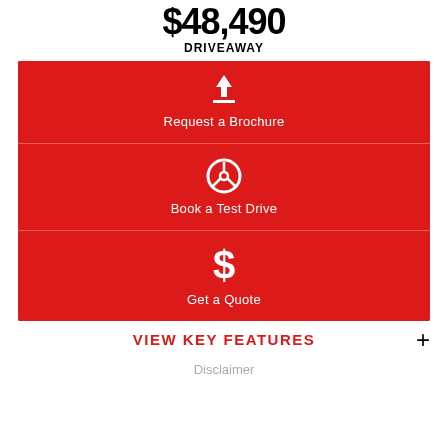$48,490 DRIVEAWAY
[Figure (infographic): Red button panel with three options: Request a Brochure (download icon), Book a Test Drive (steering wheel icon), Get a Quote (dollar sign icon)]
VIEW KEY FEATURES
Disclaimer